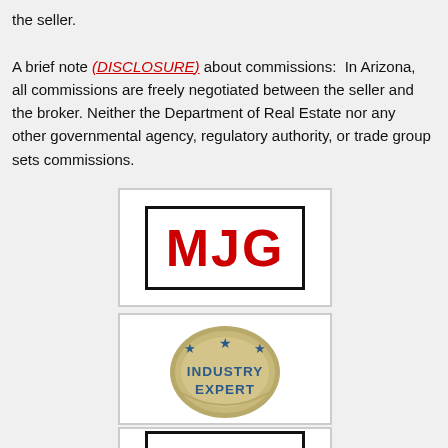the seller.

A brief note (DISCLOSURE) about commissions:  In Arizona, all commissions are freely negotiated between the seller and the broker. Neither the Department of Real Estate nor any other governmental agency, regulatory authority, or trade group sets commissions.
[Figure (logo): MJG logo: red bold text 'MJG' inside a black rectangle border, on white background within a light gray bordered box]
[Figure (logo): Industry Expert badge: circular tan/khaki badge with blue stars and text 'INDUSTRY EXPERT' in blue, on white background within a light gray bordered box]
[Figure (logo): MJG logo (partial): red bold text 'MJG' inside a black rectangle border, partially visible at the bottom of the page]